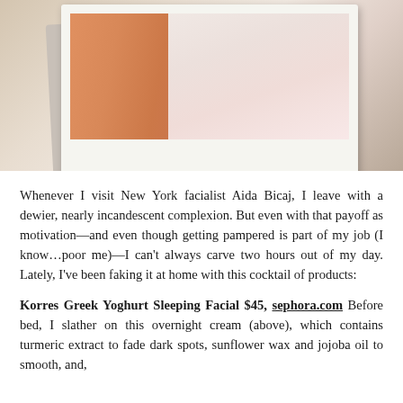[Figure (photo): Polaroid-style photo showing a person with an orange-toned arm on the left and a white/pink shirt on the right, with a second polaroid slightly behind]
Whenever I visit New York facialist Aida Bicaj, I leave with a dewier, nearly incandescent complexion. But even with that payoff as motivation—and even though getting pampered is part of my job (I know…poor me)—I can't always carve two hours out of my day. Lately, I've been faking it at home with this cocktail of products:
Korres Greek Yoghurt Sleeping Facial $45, sephora.com Before bed, I slather on this overnight cream (above), which contains turmeric extract to fade dark spots, sunflower wax and jojoba oil to smooth, and,